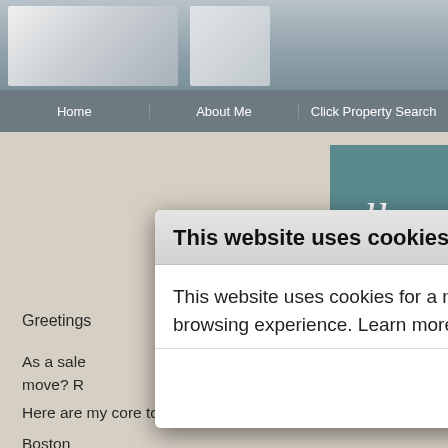[Figure (screenshot): Website screenshot with navigation bar showing Home, About Me, Click Property Search tabs, a teal decorative box with cursive 'hello' text, and beige background content about a real estate sales agent listing core towns: Boston, Cambridge, Everett.]
This website uses cookies
This website uses cookies for a number of purposes, including to enhance your browsing experience. Learn more about our use of cookies in our Privacy Policy.
OK